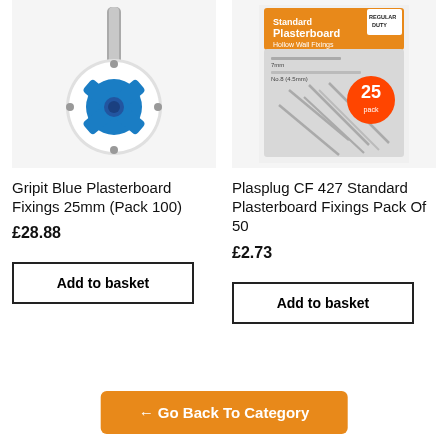[Figure (photo): Gripit Blue Plasterboard Fixings product photo showing blue and white circular fixing mechanism on a metal rod]
[Figure (photo): Plasplug CF 427 Standard Plasterboard Hollow Wall Fixings pack of 25 with screws, labelled Regular Duty]
Gripit Blue Plasterboard Fixings 25mm (Pack 100)
Plasplug CF 427 Standard Plasterboard Fixings Pack Of 50
£28.88
£2.73
Add to basket
Add to basket
← Go Back To Category